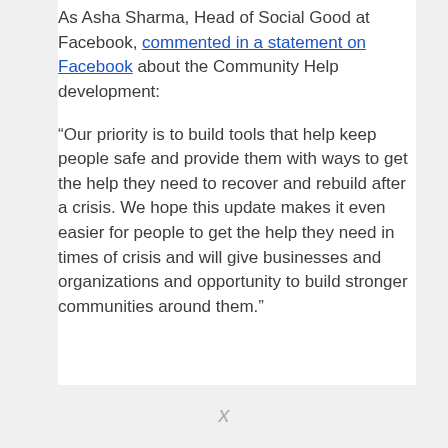As Asha Sharma, Head of Social Good at Facebook, commented in a statement on Facebook about the Community Help development:
“Our priority is to build tools that help keep people safe and provide them with ways to get the help they need to recover and rebuild after a crisis. We hope this update makes it even easier for people to get the help they need in times of crisis and will give businesses and organizations and opportunity to build stronger communities around them.”